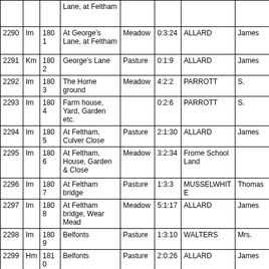|  |  |  |  |  |  |  |  |
| --- | --- | --- | --- | --- | --- | --- | --- |
|  |  |  | Lane, at Feltham |  |  |  |  |
| 2290 | Im | 1801 | At George's Lane, at Feltham | Meadow | 0:3:24 | ALLARD | James |
| 2291 | Km | 1802 | George's Lane | Pasture | 0:1:9 | ALLARD | James |
| 2292 | Im | 1803 | The Home ground | Meadow | 4:2:2 | PARROTT | S. |
| 2293 | Im | 1804 | Farm house, Yard, Garden etc. |  | 0:2:6 | PARROTT | S. |
| 2294 | Im | 1805 | At Feltham, Culver Close | Pasture | 2:1:30 | ALLARD | James |
| 2295 | Im | 1806 | At Feltham, House, Garden & Close | Meadow | 3:2:34 | Frome School Land |  |
| 2296 | Im | 1807 | At Feltham bridge | Pasture | 1:3:3 | MUSSELWHITE | Thomas |
| 2297 | Im | 1808 | At Feltham bridge, Wear Mead | Meadow | 5:1:17 | ALLARD | James |
| 2298 | Im | 1809 | Belfonts | Pasture | 1:3:10 | WALTERS | Mrs. |
| 2299 | Hm | 1810 | Belfonts | Pasture | 2:0:26 | ALLARD | James |
|  |  |  |  |  |  |  |  |